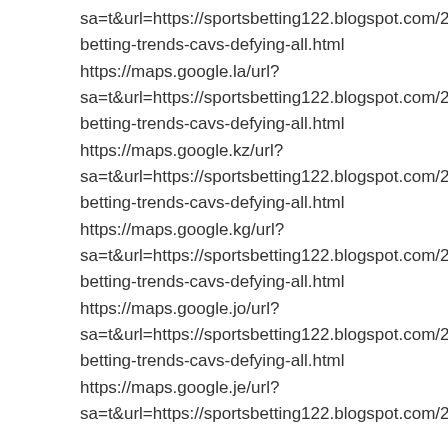sa=t&url=https://sportsbetting122.blogspot.com/2022 betting-trends-cavs-defying-all.html https://maps.google.la/url? sa=t&url=https://sportsbetting122.blogspot.com/2022 betting-trends-cavs-defying-all.html https://maps.google.kz/url? sa=t&url=https://sportsbetting122.blogspot.com/2022 betting-trends-cavs-defying-all.html https://maps.google.kg/url? sa=t&url=https://sportsbetting122.blogspot.com/2022 betting-trends-cavs-defying-all.html https://maps.google.jo/url? sa=t&url=https://sportsbetting122.blogspot.com/2022 betting-trends-cavs-defying-all.html https://maps.google.je/url? sa=t&url=https://sportsbetting122.blogspot.com/2022